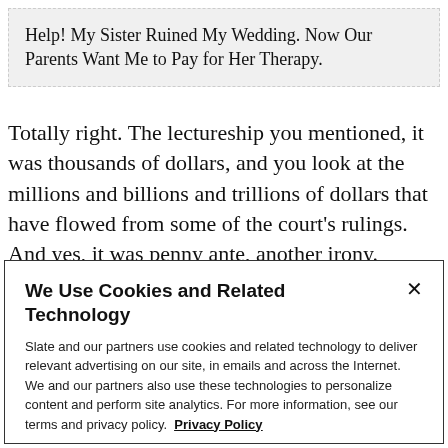Help! My Sister Ruined My Wedding. Now Our Parents Want Me to Pay for Her Therapy.
Totally right. The lectureship you mentioned, it was thousands of dollars, and you look at the millions and billions and trillions of dollars that have flowed from some of the court's rulings. And yes, it was penny ante, another irony. There's so many said ironies: The people
We Use Cookies and Related Technology
Slate and our partners use cookies and related technology to deliver relevant advertising on our site, in emails and across the Internet. We and our partners also use these technologies to personalize content and perform site analytics. For more information, see our terms and privacy policy. Privacy Policy
OK